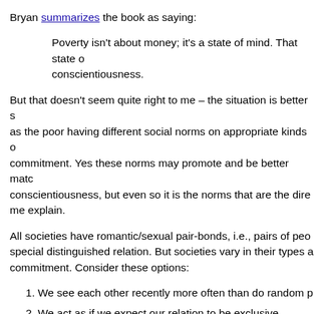Bryan summarizes the book as saying:
Poverty isn't about money; it's a state of mind. That state of conscientiousness.
But that doesn't seem quite right to me – the situation is better as the poor having different social norms on appropriate kinds of commitment. Yes these norms may promote and be better matched to conscientiousness, but even so it is the norms that are the direct cause. Let me explain.
All societies have romantic/sexual pair-bonds, i.e., pairs of people with a special distinguished relation. But societies vary in their types and degrees of commitment. Consider these options:
We see each other recently more often than do random p
We act as if we expect our relation to be exclusive.
We act as if we expect our relation to last a long time.
We tell associates that we expect a long/exclusive relation, and be embarrassed if we are seen to be wrong.
We invest in shared kids, friends, habits which are degraded by split.